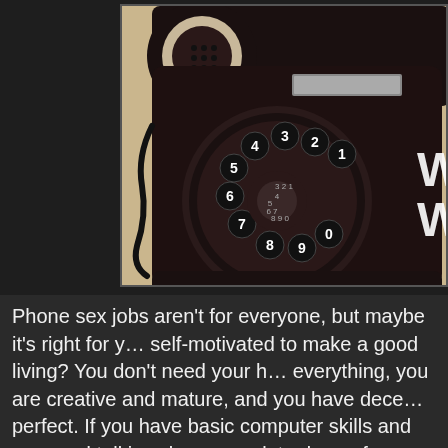[Figure (photo): A vintage black rotary dial telephone photographed from above on a cream/beige background. The rotary dial shows numbers 1-0 arranged in a circle. The image is partially cropped on the right side.]
Phone sex jobs aren't for everyone, but maybe it's right for you. Are you self-motivated to make a good living? You don't need your house to be perfect, everything, you are creative and mature, and you have decent phone voice, then perfect. If you have basic computer skills and are good talking on the phone, this could be a complete dream for you. You don't need to be young and beautiful. We have women 18 to 80 and still do awesome. All levels and personalities are welcome here. We love having a diverse collection of women working with us. All we really ask is to put effort in and treat this like a real job. We do require...